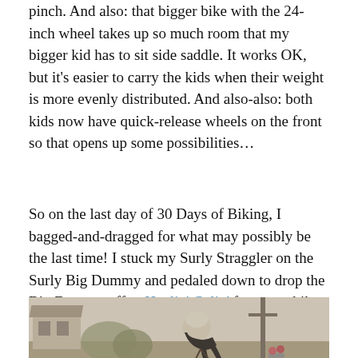pinch. And also: that bigger bike with the 24-inch wheel takes up so much room that my bigger kid has to sit side saddle. It works OK, but it's easier to carry the kids when their weight is more evenly distributed. And also-also: both kids now have quick-release wheels on the front so that opens up some possibilities…
So on the last day of 30 Days of Biking, I bagged-and-dragged for what may possibly be the last time! I stuck my Surly Straggler on the Surly Big Dummy and pedaled down to drop the Big Dummy off to Haulin' Colin' for a two-bike fork-mount tow hitch. I can't wait!!
[Figure (photo): A person wearing a helmet bending over a bicycle outdoors, with a house and utility pole visible in the background. The photo has a vintage/faded look.]